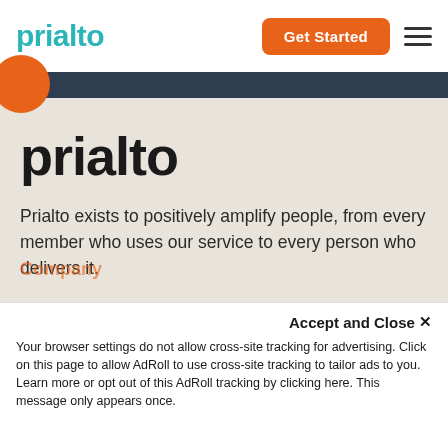prialto — Get Started
prialto
Prialto exists to positively amplify people, from every member who uses our service to every person who delivers it.
[Figure (illustration): Social media icons: Facebook, LinkedIn, Twitter]
Solutions
Company
Accept and Close ✕
Your browser settings do not allow cross-site tracking for advertising. Click on this page to allow AdRoll to use cross-site tracking to tailor ads to you. Learn more or opt out of this AdRoll tracking by clicking here. This message only appears once.